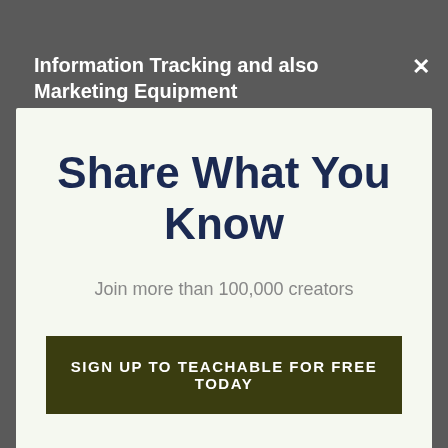Information Tracking and also Marketing Equipment
[Figure (screenshot): Close button (×) in top right corner of modal overlay]
Share What You Know
Join more than 100,000 creators
SIGN UP TO TEACHABLE FOR FREE TODAY
No thanks, I'm not interested!
a fortune to e... You can offer discount coupons and sophisticated prices alternatives like subscriptions, registrations,